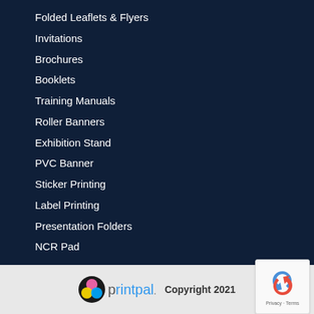Folded Leaflets & Flyers
Invitations
Brochures
Booklets
Training Manuals
Roller Banners
Exhibition Stand
PVC Banner
Sticker Printing
Label Printing
Presentation Folders
NCR Pad
printpal Copyright 2021